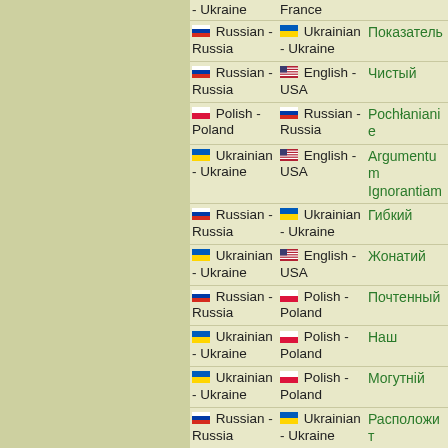- Ukraine | France | (partial top)
Russian - Russia | Ukrainian - Ukraine | Показатель
Russian - Russia | English - USA | Чистый
Polish - Poland | Russian - Russia | Pochłanianie
Ukrainian - Ukraine | English - USA | Argumentum Ignorantiam
Russian - Russia | Ukrainian - Ukraine | Гибкий
Ukrainian - Ukraine | English - USA | Жонатий
Russian - Russia | Polish - Poland | Почтенный
Ukrainian - Ukraine | Polish - Poland | Наш
Ukrainian - Ukraine | Polish - Poland | Могутній
Russian - Russia | Ukrainian - Ukraine | Расположит
Russian - Russia | Ukrainian - Ukraine | Бархатный
Russian - | Ukrainian | Утвержден